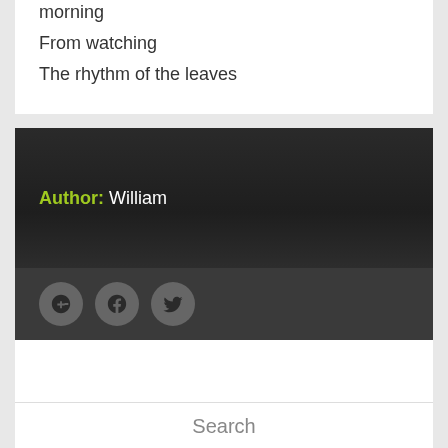morning
From watching
The rhythm of the leaves
Author: William
[Figure (other): Social media icons: Google+, Facebook, Twitter]
Search